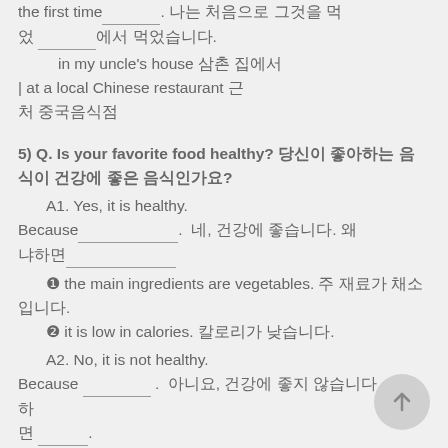the first time________. 나는 처음으로 그것을 먹 었 ________에서 먹었습니다.
in my uncle's house 삼촌 집에서
| at a local Chinese restaurant 근처 중국 음식점에서
5) Q. Is your favorite food healthy? 당신이 좋아하는 음식이 건강에 좋은 음식인가요?
A1. Yes, it is healthy. Because__________. 네, 건강에 좋습니다. 왜냐하면____________
❶ the main ingredients are vegetables. 주 재료가 채소입니다.
❷ it is low in calories. 칼로리가 낮습니다.
A2. No, it is not healthy. Because ________ . 아니요, 건강에 좋지 않습니다. 왜냐하면________